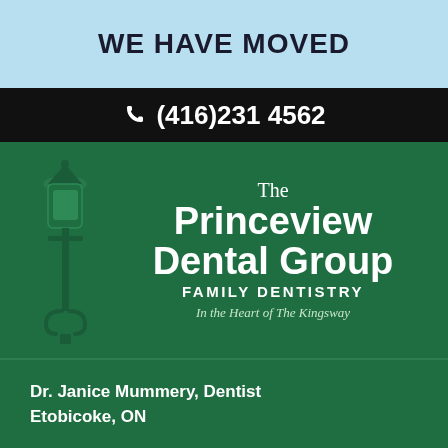WE HAVE MOVED
☎ (416)231 4562
[Figure (logo): Princeview Dental Group logo with a decorative street lamp illustration on a dark green background. Text reads: The Princeview Dental Group, FAMILY DENTISTRY, In the Heart of The Kingsway.]
Dr. Janice Mummery, Dentist
Etobicoke, ON
[Figure (illustration): Social media icons for Facebook, Twitter/X, and Google displayed as white rounded-square icons on dark green background.]